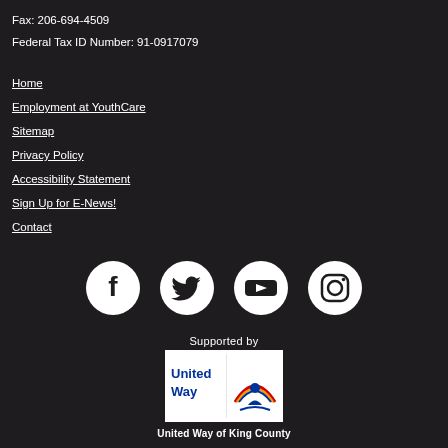Fax: 206-694-4509
Federal Tax ID Number: 91-0917079
Home
Employment at YouthCare
Sitemap
Privacy Policy
Accessibility Statement
Sign Up for E-News!
Contact
[Figure (logo): Four social media icons in white circles on dark background: Facebook, Twitter, YouTube, Instagram]
Supported by
[Figure (logo): United Way logo — white background with United Way text and rainbow/hands symbol]
United Way of King County